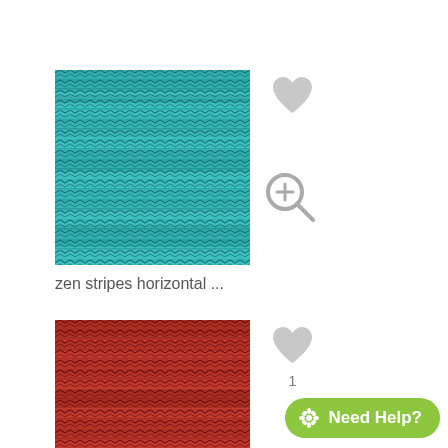[Figure (photo): Teal/turquoise horizontal zen stripes knitted textile pattern thumbnail with a grey heart icon (favorite) in top right and a magnify/zoom icon below it]
zen stripes horizontal ...
[Figure (photo): Red/crimson horizontal zen stripes knitted textile pattern thumbnail with a grey heart icon showing count of 1]
1
Need Help?